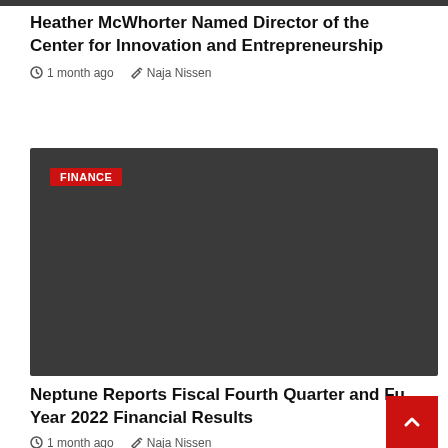Heather McWhorter Named Director of the Center for Innovation and Entrepreneurship
1 month ago  Naja Nissen
[Figure (other): Dark gray/charcoal background card with a red FINANCE badge label in the upper left corner]
Neptune Reports Fiscal Fourth Quarter and Full Year 2022 Financial Results
1 month ago  Naja Nissen